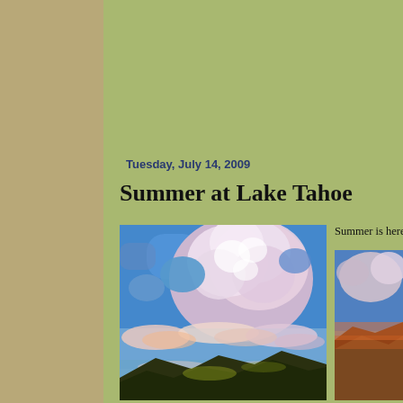Large Paintings 18 x 24 and up | PLEIN AIR and...
2014 Events | SOLD PAINTINGS and Archived P...
Tuesday, July 14, 2009
Summer at Lake Tahoe
[Figure (photo): Painting of a dramatic summer sky with large billowing pink and white clouds over blue sky, with dark mountains at the bottom and colorful sunset clouds near the horizon. Lake Tahoe plein air painting.]
Summer is here, wa...